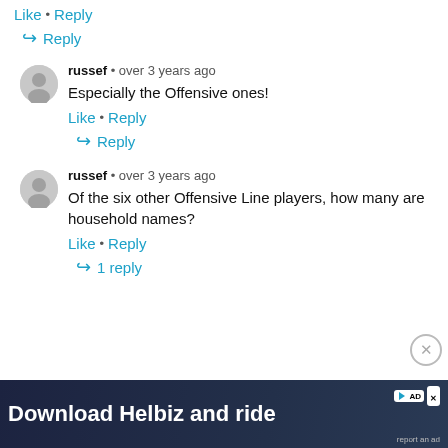Like • Reply
Reply
russef • over 3 years ago
Especially the Offensive ones!
Like • Reply
Reply
russef • over 3 years ago
Of the six other Offensive Line players, how many are household names?
Like • Reply
1 reply
[Figure (screenshot): Advertisement banner: Download Helbiz and ride]